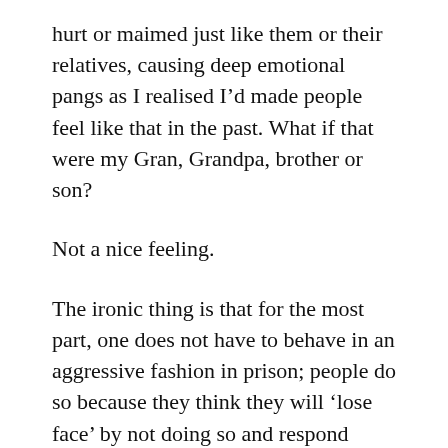hurt or maimed just like them or their relatives, causing deep emotional pangs as I realised I'd made people feel like that in the past. What if that were my Gran, Grandpa, brother or son?
Not a nice feeling.
The ironic thing is that for the most part, one does not have to behave in an aggressive fashion in prison; people do so because they think they will ‘lose face’ by not doing so and respond accordingly. I knew if I stopped seeing myself in a criminalised light then I would possibly be able to reconstruct my identity through academic pursuits, thus helping me